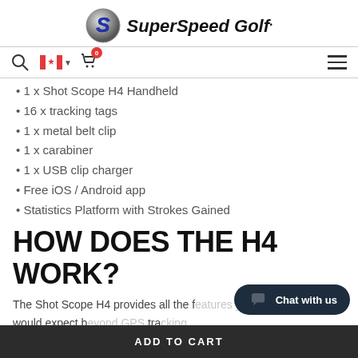[Figure (logo): SuperSpeed Golf logo with metallic S emblem and bold italic text]
[Figure (screenshot): Navigation bar with search icon, Canadian flag with dropdown, cart icon with 0 badge, and hamburger menu]
1 x Shot Scope H4 Handheld
16 x tracking tags
1 x metal belt clip
1 x carabiner
1 x USB clip charger
Free iOS / Android app
Statistics Platform with Strokes Gained
HOW DOES THE H4 WORK?
The Shot Scope H4 provides all the [features you] would expect b[eyond GPS] tra[cking] and performanc[e analytics from the] Shot Scope